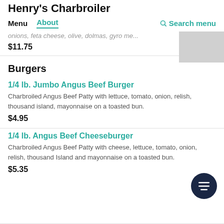Henry's Charbroiler
Menu  About  Search menu
onions, feta cheese, olive, dolmas, gyro me...
$11.75
Burgers
1/4 lb. Jumbo Angus Beef Burger
Charbroiled Angus Beef Patty with lettuce, tomato, onion, relish, thousand island, mayonnaise on a toasted bun.
$4.95
1/4 lb. Angus Beef Cheeseburger
Charbroiled Angus Beef Patty with cheese, lettuce, tomato, onion, relish, thousand Island and mayonnaise on a toasted bun.
$5.35